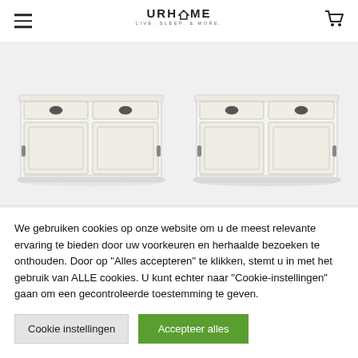URHOME LIVE. SLEEP. & MORE.
[Figure (photo): Two white sideboard/buffet cabinets with sliding doors and drawers shown side by side on a light grey background]
We gebruiken cookies op onze website om u de meest relevante ervaring te bieden door uw voorkeuren en herhaalde bezoeken te onthouden. Door op "Alles accepteren" te klikken, stemt u in met het gebruik van ALLE cookies. U kunt echter naar "Cookie-instellingen" gaan om een gecontroleerde toestemming te geven.
Cookie instellingen   Accepteer alles